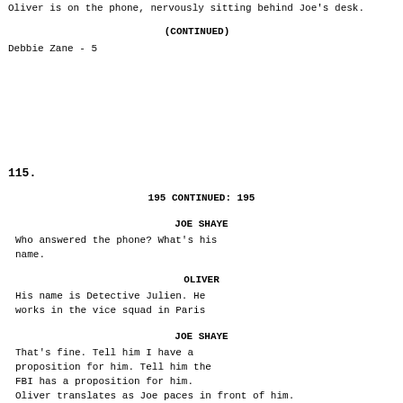Oliver is on the phone, nervously sitting behind Joe's desk.
(CONTINUED)
Debbie Zane - 5
115.
195 CONTINUED: 195
JOE SHAYE
Who answered the phone? What's his name.
OLIVER
His name is Detective Julien. He works in the vice squad in Paris
JOE SHAYE
That's fine. Tell him I have a proposition for him. Tell him the FBI has a proposition for him. Oliver translates as Joe paces in front of him.